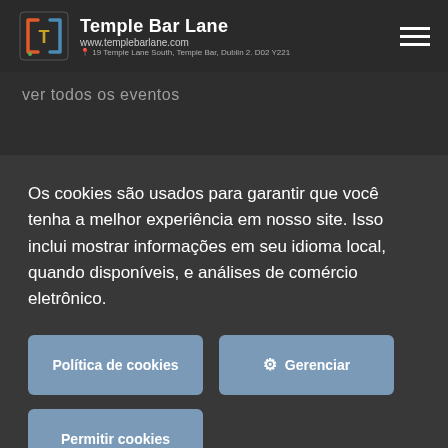Temple Bar Lane | www.templebarlane.com | 19 Temple Lane South, Temple Bar, Dublin 2. D02 Y221
ver todos os eventos
Os cookies são usados para garantir que você tenha a melhor experiência em nosso site. Isso inclui mostrar informações em seu idioma local, quando disponíveis, e análises de comércio eletrônico.
Política de cookies
Gerenciar
Permitir cookies